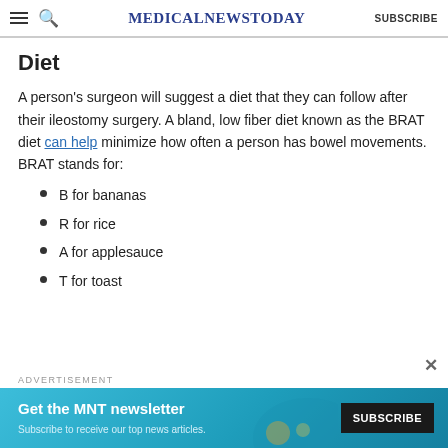MedicalNewsToday SUBSCRIBE
Diet
A person's surgeon will suggest a diet that they can follow after their ileostomy surgery. A bland, low fiber diet known as the BRAT diet can help minimize how often a person has bowel movements. BRAT stands for:
B for bananas
R for rice
A for applesauce
T for toast
ADVERTISEMENT
[Figure (screenshot): Advertisement banner: 'Get the MNT newsletter – Subscribe to receive our top news articles' with a SUBSCRIBE button]